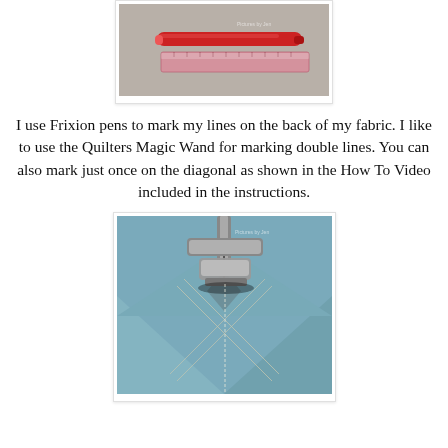[Figure (photo): A red Frixion pen and a pink/red clear ruler on a gray surface]
I use Frixion pens to mark my lines on the back of my fabric. I like to use the Quilters Magic Wand for marking double lines. You can also mark just once on the diagonal as shown in the How To Video included in the instructions.
[Figure (photo): A sewing machine presser foot sewing on blue fabric with diagonal pencil lines marked on it, showing the quilting process]